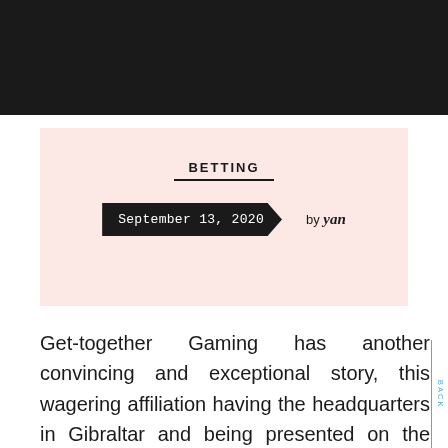BETTING
September 13, 2020  by yan
Get-together Gaming has another convincing and exceptional story, this wagering affiliation having the headquarters in Gibraltar and being presented on the London securities exchange June 2005. The assessment of this affiliation broadened rapidly and appeared at a dumbfounding ten billion dollars deals number, along these lines Anural